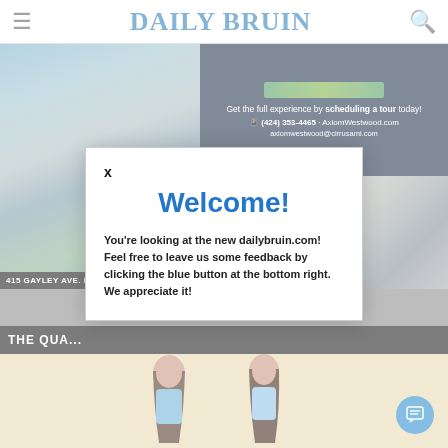DAILY BRUIN
[Figure (screenshot): Background showing apartment building exterior photo on left, advertisement panel for Axiom Westwood on right top, and apartment interior photo on right bottom]
Get the full experience by scheduling a tour today!
(424) 353-4465 · AxiomWestwood.com
axiomwestwood@cirrusami.com
415 GAYLEY AVE. LO...
THE QUA...
[Figure (illustration): Two illustrated female figures with long brown hair against tan/beige background]
[Figure (screenshot): Welcome modal popup dialog on the Daily Bruin website]
Welcome!
You're looking at the new dailybruin.com! Feel free to leave us some feedback by clicking the blue button at the bottom right. We appreciate it!